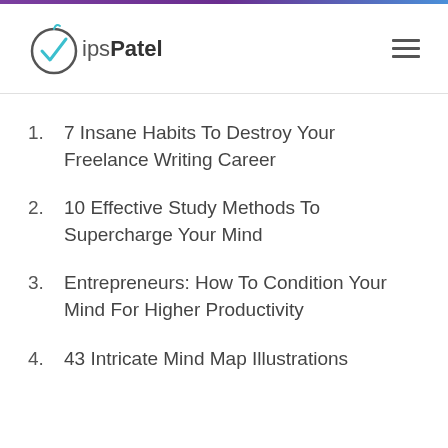VipsPatel
7 Insane Habits To Destroy Your Freelance Writing Career
10 Effective Study Methods To Supercharge Your Mind
Entrepreneurs: How To Condition Your Mind For Higher Productivity
43 Intricate Mind Map Illustrations